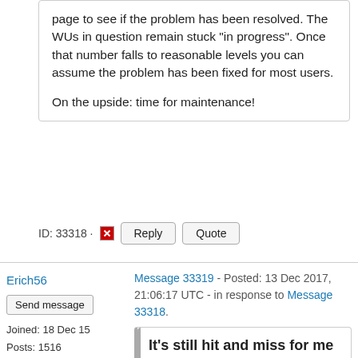page to see if the problem has been resolved. The WUs in question remain stuck "in progress". Once that number falls to reasonable levels you can assume the problem has been fixed for most users.

On the upside: time for maintenance!
ID: 33318 · Reply Quote
Erich56
Send message
Joined: 18 Dec 15
Posts: 1516
Credit: 46,852,677
RAC: 60,258
Message 33319 - Posted: 13 Dec 2017, 21:06:17 UTC - in response to Message 33318.
It's still hit and miss for me too. The assurance that the issue is being worked on is all I wanted really.